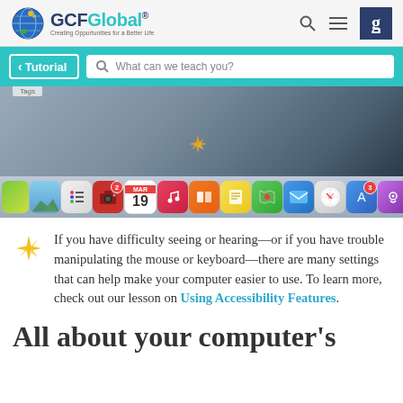GCFGlobal - Creating Opportunities for a Better Life
[Figure (screenshot): GCFGlobal website navigation bar with Tutorial button and search box saying 'What can we teach you?', followed by a screenshot of a Mac desktop with dock icons including Photos, Reminders, Music, Books, Notes, Maps, Mail, Safari, App Store, Podcasts and more.]
If you have difficulty seeing or hearing—or if you have trouble manipulating the mouse or keyboard—there are many settings that can help make your computer easier to use. To learn more, check out our lesson on Using Accessibility Features.
All about your computer's